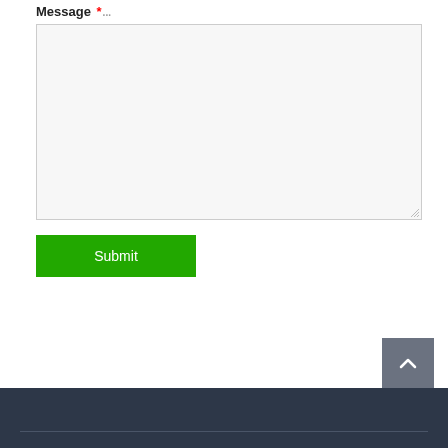Message * ...
[Figure (screenshot): Empty textarea input field with light gray background and resize handle at bottom-right]
[Figure (screenshot): Green Submit button]
[Figure (screenshot): Gray scroll-to-top button with upward chevron icon]